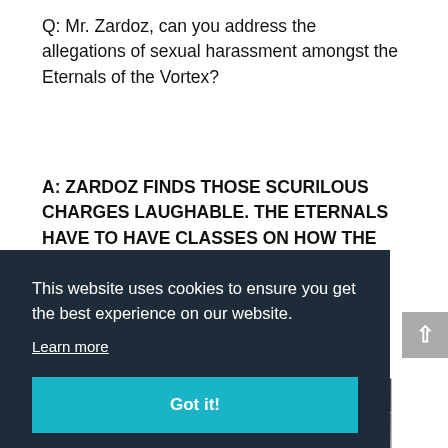Q: Mr. Zardoz, can you address the allegations of sexual harassment amongst the Eternals of the Vortex?
A: ZARDOZ FINDS THOSE SCURILOUS CHARGES LAUGHABLE. THE ETERNALS HAVE TO HAVE CLASSES ON HOW THE PENIS (WHICH IS EVIL!) EVEN WORKS.
[Figure (photo): Partially visible photo, partially obscured by cookie consent banner]
This website uses cookies to ensure you get the best experience on our website. Learn more
Got it!